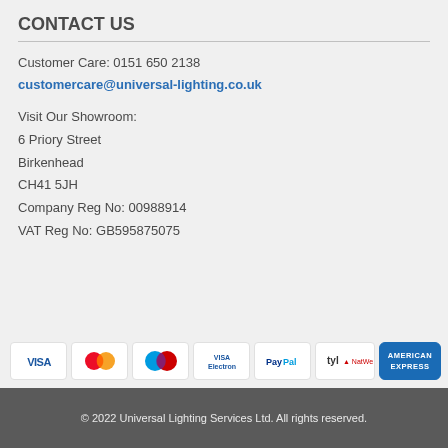CONTACT US
Customer Care: 0151 650 2138
customercare@universal-lighting.co.uk
Visit Our Showroom:
6 Priory Street
Birkenhead
CH41 5JH
Company Reg No: 00988914
VAT Reg No: GB595875075
[Figure (other): Payment method logos: VISA, MasterCard, Maestro, VISA Electron, PayPal, tyl NatWest, American Express]
© 2022 Universal Lighting Services Ltd. All rights reserved.